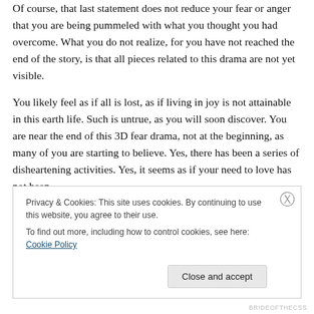Of course, that last statement does not reduce your fear or anger that you are being pummeled with what you thought you had overcome. What you do not realize, for you have not reached the end of the story, is that all pieces related to this drama are not yet visible.
You likely feel as if all is lost, as if living in joy is not attainable in this earth life. Such is untrue, as you will soon discover. You are near the end of this 3D fear drama, not at the beginning, as many of you are starting to believe. Yes, there has been a series of disheartening activities. Yes, it seems as if your need to love has not been
Privacy & Cookies: This site uses cookies. By continuing to use this website, you agree to their use.
To find out more, including how to control cookies, see here: Cookie Policy
Close and accept
BRIDEOFTHECSS